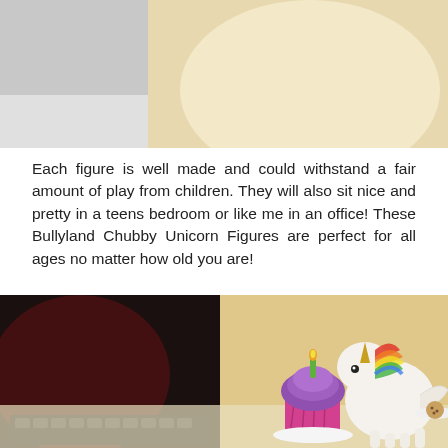[Figure (photo): A unicorn figurine in a pink/orange dress holding a star wand, photographed on a light background. Left side shows a partial grey rectangle.]
Each figure is well made and could withstand a fair amount of play from children. They will also sit nice and pretty in a teens bedroom or like me in an office! These Bullyland Chubby Unicorn Figures are perfect for all ages no matter how old you are!
[Figure (photo): A chubby white unicorn figurine with a rainbow mane holding a small plate, next to a cupcake with a blue candle and purple frosting in a pink wrapper, on a dark blurred background on the left.]